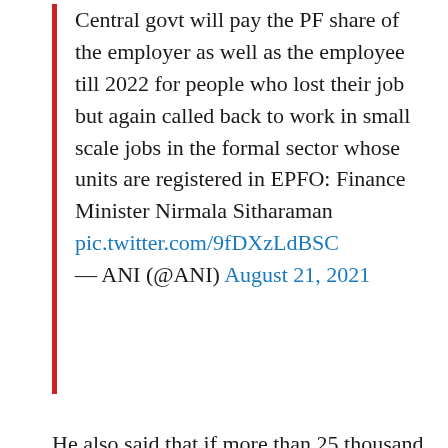Central govt will pay the PF share of the employer as well as the employee till 2022 for people who lost their job but again called back to work in small scale jobs in the formal sector whose units are registered in EPFO: Finance Minister Nirmala Sitharaman pic.twitter.com/9fDXzLdBSC — ANI (@ANI) August 21, 2021
He also said that if more than 25 thousand workers working in the informal sector in any district have returned to their villages or cities, then they will be given employment under 16 schemes of the central government. Union Finance Minister Sitharaman, who reached Lucknow, said that the central government has started many schemes keeping in mind the economic